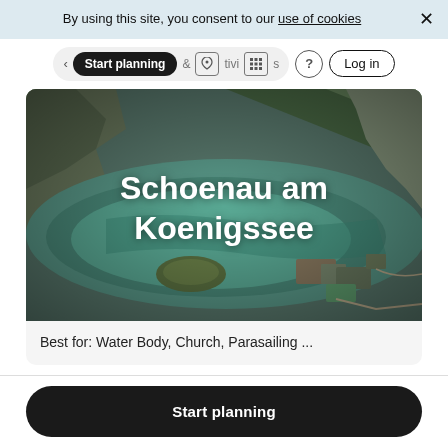By using this site, you consent to our use of cookies
[Figure (screenshot): Navigation bar with 'Start planning' dark pill button, favorites and activities icons, help icon, and Log in button]
[Figure (photo): Aerial photograph of Schoenau am Koenigssee showing a green lake surrounded by forests and mountains with buildings near the shore. White text overlay reads 'Schoenau am Koenigssee'.]
Best for: Water Body, Church, Parasailing ...
Start planning